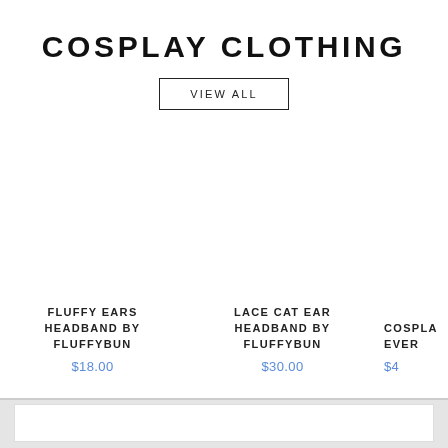COSPLAY CLOTHING
VIEW ALL
FLUFFY EARS HEADBAND BY FLUFFYBUN
$18.00
LACE CAT EAR HEADBAND BY FLUFFYBUN
$30.00
COSPLAY EVER
$4...